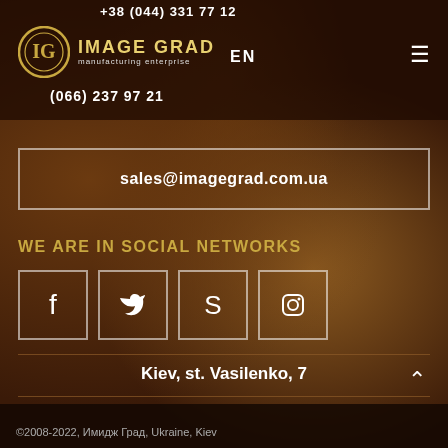+38 (044) 331 77 12 | IMAGE GRAD manufacturing enterprise | EN | +38 (066) 237 97 21
sales@imagegrad.com.ua
WE ARE IN SOCIAL NETWORKS
[Figure (other): Four social media icon boxes: Facebook, Twitter, Skype, Instagram]
Kiev, st. Vasilenko, 7
©2008-2022, Имидж Град, Ukraine, Kiev